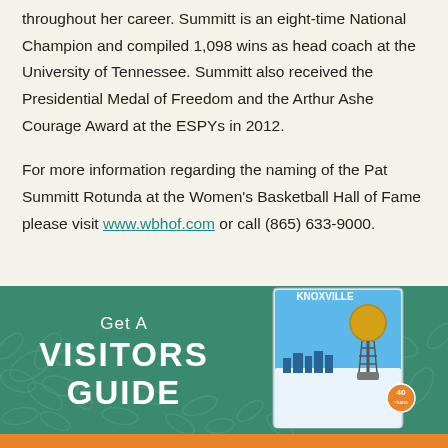throughout her career. Summitt is an eight-time National Champion and compiled 1,098 wins as head coach at the University of Tennessee. Summitt also received the Presidential Medal of Freedom and the Arthur Ashe Courage Award at the ESPYs in 2012.
For more information regarding the naming of the Pat Summitt Rotunda at the Women's Basketball Hall of Fame please visit www.wbhof.com or call (865) 633-9000.
[Figure (infographic): Green banner with decorative leaf pattern, text 'Get A VISITORS GUIDE' and a Knoxville visitors guide booklet image showing the Sunsphere tower]